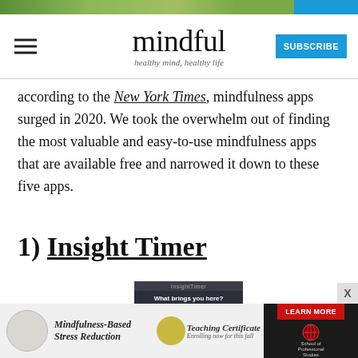[Figure (screenshot): Top banner image of nature/garden scene in greens and yellows with a blue element on the right]
mindful — healthy mind, healthy life — SUBSCRIBE
according to the New York Times, mindfulness apps surged in 2020. We took the overwhelm out of finding the most valuable and easy-to-use mindfulness apps that are available free and narrowed it down to these five apps.
1) Insight Timer
[Figure (screenshot): Insight Timer app screenshot showing 'What brings you here?' onboarding screen with two cards]
[Figure (advertisement): Ad banner for Mindfulness-Based Stress Reduction Teaching Certificate program, with Learn More button and School of Professional Studies logo]